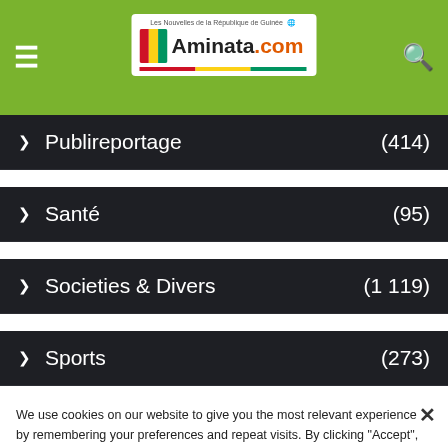Aminata.com — Les Nouvelles de la République de Guinée
Publireportage (414)
Santé (95)
Societies & Divers (1 119)
Sports (273)
Tech (1)
Uncategorized (1 177)
Vidéos (13)
We use cookies on our website to give you the most relevant experience by remembering your preferences and repeat visits. By clicking "Accept", you consent to the use of ALL the cookies.
Préférences de confidentialité
Cookie settings
J'approuve